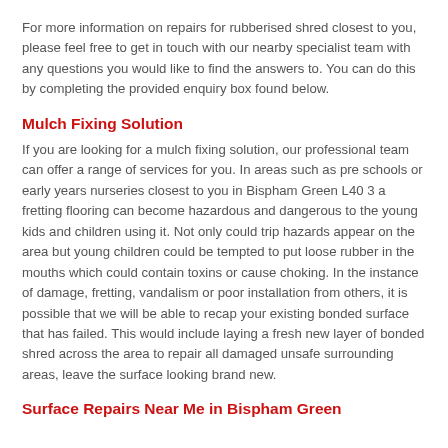For more information on repairs for rubberised shred closest to you, please feel free to get in touch with our nearby specialist team with any questions you would like to find the answers to. You can do this by completing the provided enquiry box found below.
Mulch Fixing Solution
If you are looking for a mulch fixing solution, our professional team can offer a range of services for you. In areas such as pre schools or early years nurseries closest to you in Bispham Green L40 3 a fretting flooring can become hazardous and dangerous to the young kids and children using it. Not only could trip hazards appear on the area but young children could be tempted to put loose rubber in the mouths which could contain toxins or cause choking. In the instance of damage, fretting, vandalism or poor installation from others, it is possible that we will be able to recap your existing bonded surface that has failed. This would include laying a fresh new layer of bonded shred across the area to repair all damaged unsafe surrounding areas, leave the surface looking brand new.
Surface Repairs Near Me in Bispham Green